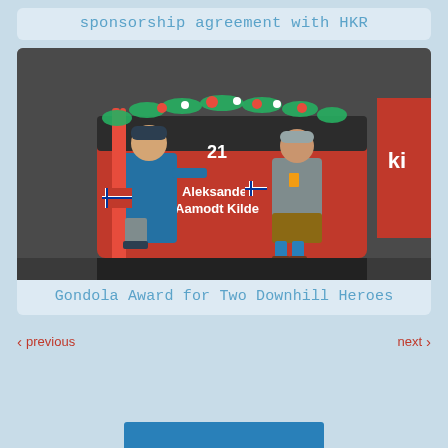sponsorship agreement with HKR
[Figure (photo): Two men standing in front of a red gondola cabin labeled 'Aleksander Aamodt Kilde' with Norwegian flag, decorated with Christmas garlands. One man holds skis and a Norwegian flag, the other wears traditional Bavarian shorts.]
Gondola Award for Two Downhill Heroes
previous
next